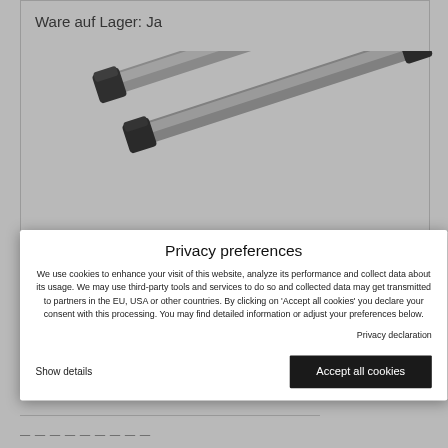Ware auf Lager: Ja
[Figure (photo): Two silver/black roof rack bars (crossbars) shown diagonally against white background]
Privacy preferences
We use cookies to enhance your visit of this website, analyze its performance and collect data about its usage. We may use third-party tools and services to do so and collected data may get transmitted to partners in the EU, USA or other countries. By clicking on 'Accept all cookies' you declare your consent with this processing. You may find detailed information or adjust your preferences below.
Privacy declaration
Show details
Accept all cookies
ahrzeuge